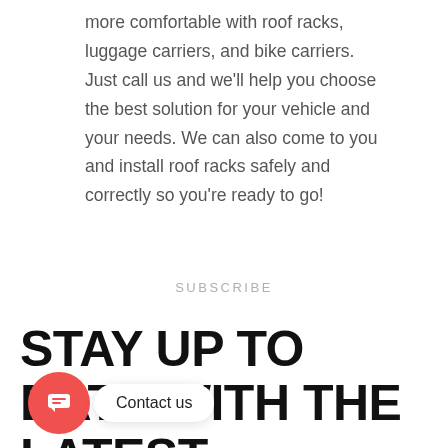more comfortable with roof racks, luggage carriers, and bike carriers. Just call us and we'll help you choose the best solution for your vehicle and your needs. We can also come to you and install roof racks safely and correctly so you're ready to go!
SUBSCRIBE
STAY UP TO DATE WITH THE LATEST UPDATES AND INFO
[Figure (other): Chat bubble UI widget: pink/red circular icon with chat lines, and a white rounded rectangle with 'Contact us' text]